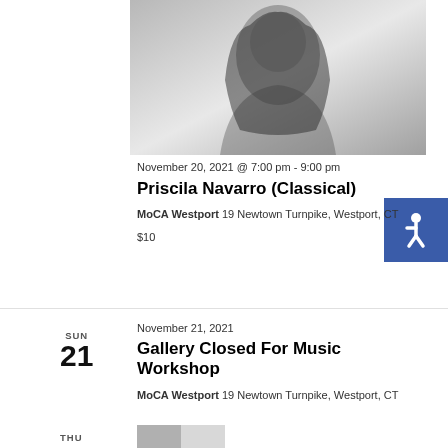[Figure (photo): Black and white portrait photo of a young woman with long dark hair, smiling, wearing a dark top]
November 20, 2021 @ 7:00 pm - 9:00 pm
Priscila Navarro (Classical)
MoCA Westport 19 Newtown Turnpike, Westport, CT
$10
SUN
21
November 21, 2021
Gallery Closed For Music Workshop
MoCA Westport 19 Newtown Turnpike, Westport, CT